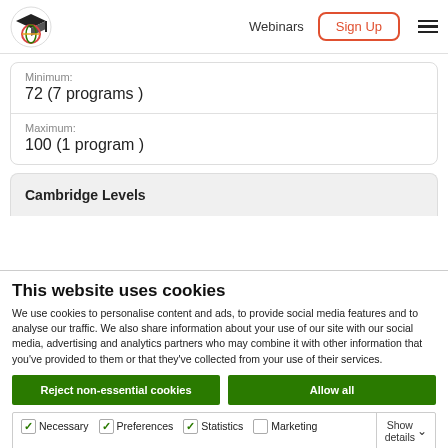Webinars | Sign Up
Minimum:
72 (7 programs )
Maximum:
100 (1 program )
Cambridge Levels
This website uses cookies
We use cookies to personalise content and ads, to provide social media features and to analyse our traffic. We also share information about your use of our site with our social media, advertising and analytics partners who may combine it with other information that you've provided to them or that they've collected from your use of their services.
Reject non-essential cookies | Allow all
Necessary | Preferences | Statistics | Marketing | Show details